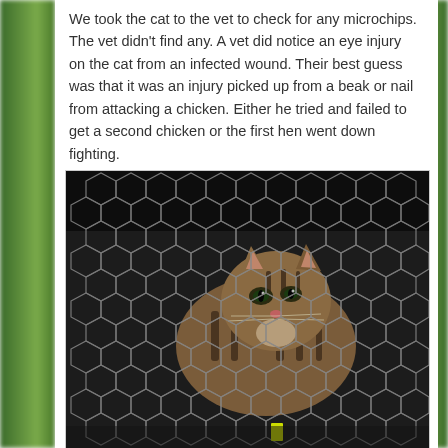We took the cat to the vet to check for any microchips. The vet didn't find any. A vet did notice an eye injury on the cat from an infected wound. Their best guess was that it was an injury picked up from a beak or nail from attacking a chicken. Either he tried and failed to get a second chicken or the first hen went down fighting.
[Figure (photo): A tabby cat inside a wire chicken-wire cage or trap, seen through hexagonal mesh fencing. The cat has tabby markings and is crouched inside a dark crate or pen. A small yellow tag or marker is visible near the bottom of the cage.]